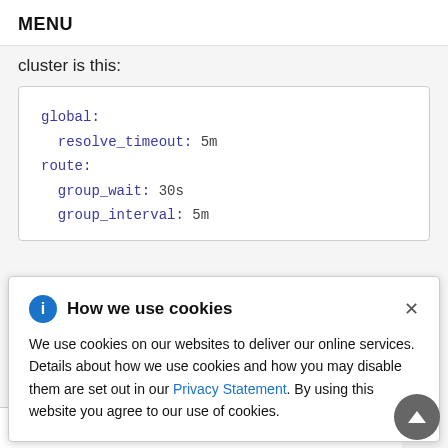MENU
cluster is this:
global:
  resolve_timeout: 5m
route:
  group_wait: 30s
  group_interval: 5m
How we use cookies

We use cookies on our websites to deliver our online services. Details about how we use cookies and how you may disable them are set out in our Privacy Statement. By using this website you agree to our use of cookies.
- name: default